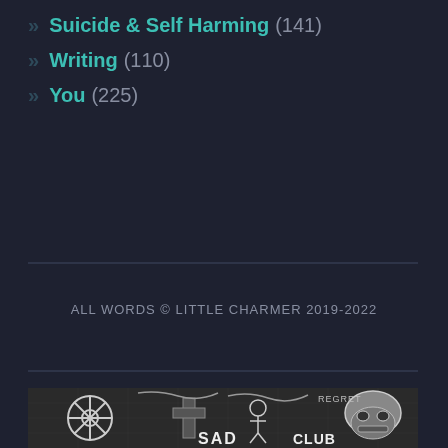» Suicide & Self Harming (141)
» Writing (110)
» You (225)
ALL WORDS © LITTLE CHARMER 2019-2022
[Figure (illustration): Black and white graffiti/sticker collage illustration showing various characters and text including 'SAD', 'CLUB', 'R.I.P', a Star Wars Stormtrooper helmet, a wheel/gear, and other doodle-style artwork elements arranged as a puzzle-like composition.]